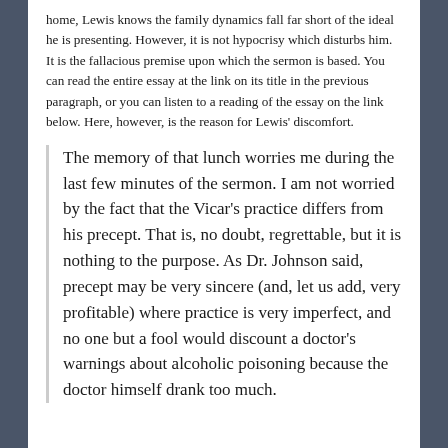home, Lewis knows the family dynamics fall far short of the ideal he is presenting. However, it is not hypocrisy which disturbs him. It is the fallacious premise upon which the sermon is based. You can read the entire essay at the link on its title in the previous paragraph, or you can listen to a reading of the essay on the link below. Here, however, is the reason for Lewis' discomfort.
The memory of that lunch worries me during the last few minutes of the sermon. I am not worried by the fact that the Vicar's practice differs from his precept. That is, no doubt, regrettable, but it is nothing to the purpose. As Dr. Johnson said, precept may be very sincere (and, let us add, very profitable) where practice is very imperfect, and no one but a fool would discount a doctor's warnings about alcoholic poisoning because the doctor himself drank too much.